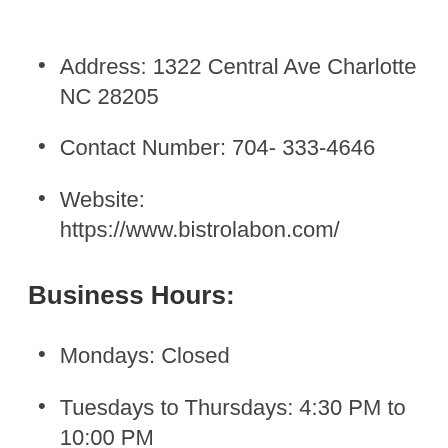Address: 1322 Central Ave Charlotte NC 28205
Contact Number: 704- 333-4646
Website: https://www.bistrolabon.com/
Business Hours:
Mondays: Closed
Tuesdays to Thursdays: 4:30 PM to 10:00 PM